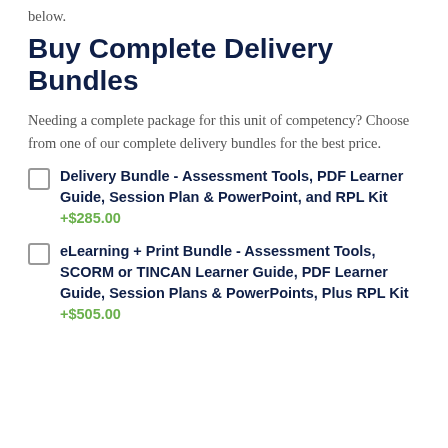below.
Buy Complete Delivery Bundles
Needing a complete package for this unit of competency? Choose from one of our complete delivery bundles for the best price.
Delivery Bundle - Assessment Tools, PDF Learner Guide, Session Plan & PowerPoint, and RPL Kit +$285.00
eLearning + Print Bundle - Assessment Tools, SCORM or TINCAN Learner Guide, PDF Learner Guide, Session Plans & PowerPoints, Plus RPL Kit +$505.00